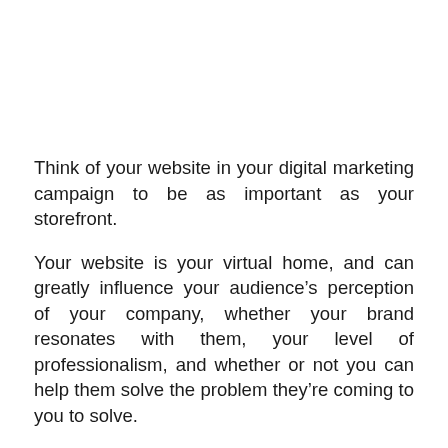Think of your website in your digital marketing campaign to be as important as your storefront.
Your website is your virtual home, and can greatly influence your audience’s perception of your company, whether your brand resonates with them, your level of professionalism, and whether or not you can help them solve the problem they’re coming to you to solve.
Ensure that your website is responsive and engaging, updated, and mobile-friendly. To test your site’s mobile-friendliness, check out Google’s free test. Many business owners believe they need to add a mobile app to their digital media strategy, but if your site’s mobile-friendly, it creates much more ease in the user experience and improves your SEO.